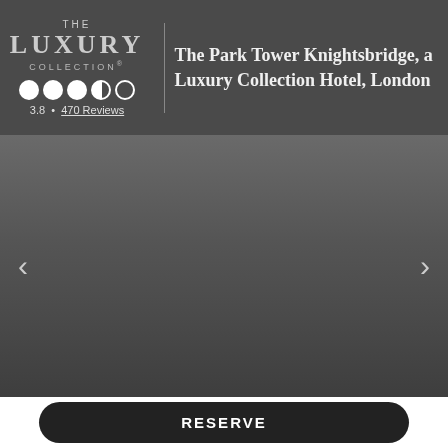[Figure (logo): The Luxury Collection logo — text stacked: THE / LUXURY / COLLECTION with registered trademark symbol]
The Park Tower Knightsbridge, a Luxury Collection Hotel, London
3.8 • 470 Reviews
[Figure (other): Hotel photo carousel with left and right navigation arrows, showing a gray placeholder area]
RESERVE